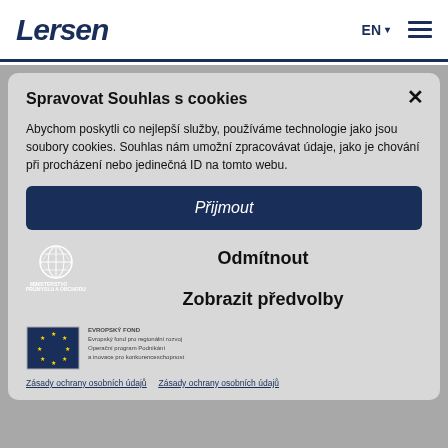Lersen — EN ☰
Downloads
Contacts
Spravovat Souhlas s cookies
Abychom poskytli co nejlepší služby, používáme technologie jako jsou soubory cookies. Souhlas nám umožní zpracovávat údaje, jako je chování při procházení nebo jedinečná ID na tomto webu.
Přijmout
Odmítnout
Zobrazit předvolby
[Figure (logo): Ministerstvo průmyslu a obchodu logo — geometric globe/network icon in white, with text MINISTERSTVO PRŮMYSLU A OBCHODU]
[Figure (logo): EU flag logo — circle of stars on dark background in a rectangular box, with text EVROPSKÝ FOND PRO REGIONÁLNÍ ROZVOJ, Operační program Podnikání a inovace pro konkurenceschopnost]
Zásady ochrany osobních údajů   Zásady ochrany osobních údajů